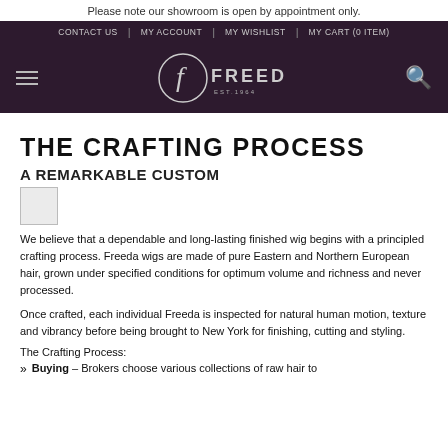Please note our showroom is open by appointment only.
CONTACT US | MY ACCOUNT | MY WISHLIST | MY CART (0 ITEM)
[Figure (logo): Freeda logo — oval with stylized F, text FREEDA EST.1964]
THE CRAFTING PROCESS
A REMARKABLE CUSTOM
[Figure (other): Small placeholder image box]
We believe that a dependable and long-lasting finished wig begins with a principled crafting process. Freeda wigs are made of pure Eastern and Northern European hair, grown under specified conditions for optimum volume and richness and never processed.
Once crafted, each individual Freeda is inspected for natural human motion, texture and vibrancy before being brought to New York for finishing, cutting and styling.
The Crafting Process:
Buying – Brokers choose various collections of raw hair to